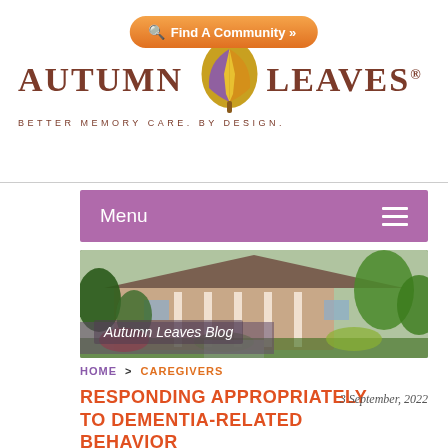[Figure (logo): Autumn Leaves logo with leaf icon and tagline: BETTER MEMORY CARE. BY DESIGN.]
[Figure (other): Orange rounded button: Find A Community with magnifying glass icon and arrow]
[Figure (other): Purple menu bar with Menu text and hamburger icon]
[Figure (photo): Photo of Autumn Leaves community building exterior with trees and garden, overlaid with italic text Autumn Leaves Blog]
HOME > CAREGIVERS
RESPONDING APPROPRIATELY TO DEMENTIA-RELATED BEHAVIOR
3 September, 2022